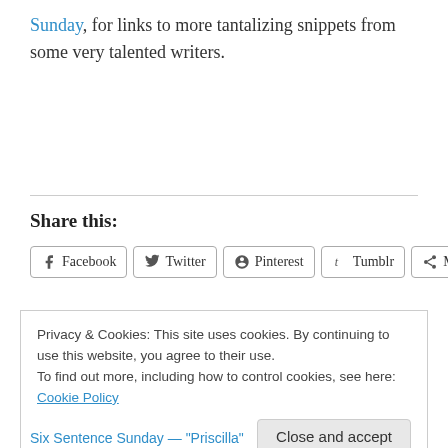Sunday, for links to more tantalizing snippets from some very talented writers.
Share this:
[Figure (other): Share buttons: Facebook, Twitter, Pinterest, Tumblr, More]
Privacy & Cookies: This site uses cookies. By continuing to use this website, you agree to their use.
To find out more, including how to control cookies, see here: Cookie Policy
Six Sentence Sunday — "Priscilla"